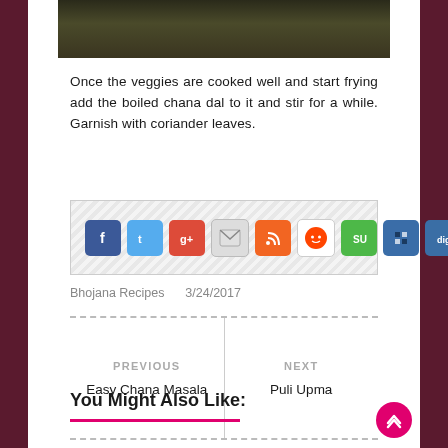[Figure (photo): Top portion of a food photo showing cooked vegetables/chana dal in a dark pan]
Once the veggies are cooked well and start frying add the boiled chana dal to it and stir for a while. Garnish with coriander leaves.
[Figure (infographic): Social media sharing icons bar: Facebook, Twitter, Google+, Email, RSS, Reddit, StumbleUpon, Delicious, Digg]
Bhojana Recipes    3/24/2017
PREVIOUS
Easy Chana Masala
NEXT
Puli Upma
You Might Also Like: